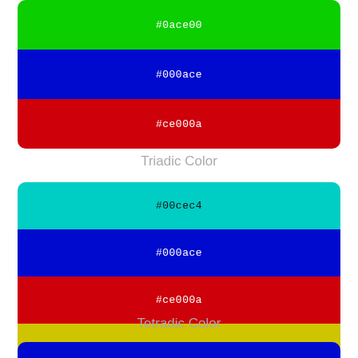[Figure (infographic): Triadic color palette showing three color swatches: #0ace00 (green), #000ace (blue), #ce000a (red)]
Triadic Color
[Figure (infographic): Tetradic color palette showing four color swatches: #00cec4 (cyan), #000ace (blue), #ce000a (red), #cec400 (yellow-green)]
Tetradic Color
[Figure (infographic): Bottom partial color swatch in blue (#000ace)]